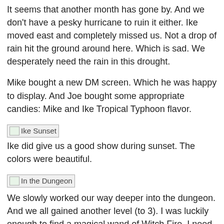It seems that another month has gone by. And we don't have a pesky hurricane to ruin it either. Ike moved east and completely missed us. Not a drop of rain hit the ground around here. Which is sad. We desperately need the rain in this drought.
Mike bought a new DM screen. Which he was happy to display. And Joe bought some appropriate candies: Mike and Ike Tropical Typhoon flavor.
[Figure (photo): Broken image placeholder labeled 'Ike Sunset']
Ike did give us a good show during sunset. The colors were beautiful.
[Figure (photo): Broken image placeholder labeled 'In the Dungeon']
We slowly worked our way deeper into the dungeon. And we all gained another level (to 3). I was luckily enough to find a magical wand of Witch Fire. I need the bonus help on hitting monsters. Our new NPC, Brother Tanaka, is a Warforged